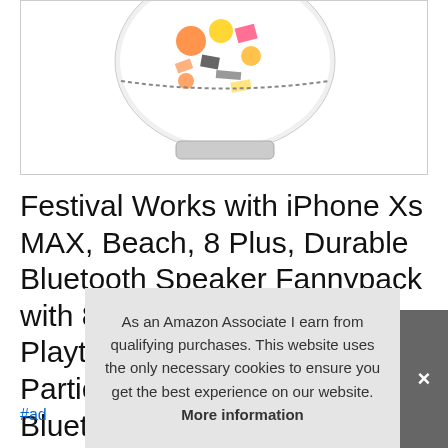[Figure (photo): Product image of a colorful patterned fanny pack / waist bag with Bluetooth speaker, shown against white background inside a bordered box]
Festival Works with iPhone Xs MAX, Beach, 8 Plus, Durable Bluetooth Speaker Fannypack with 8W Louder Sound, 10H Playtime Waist Bag for Parties. XR. Fanny Pack with Bluetooth Sp
#ad
As an Amazon Associate I earn from qualifying purchases. This website uses the only necessary cookies to ensure you get the best experience on our website. More information